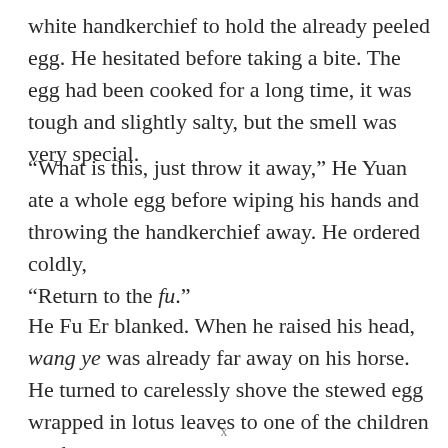white handkerchief to hold the already peeled egg. He hesitated before taking a bite. The egg had been cooked for a long time, it was tough and slightly salty, but the smell was very special.
“What is this, just throw it away,” He Yuan ate a whole egg before wiping his hands and throwing the handkerchief away. He ordered coldly, “Return to the fu.”
He Fu Er blanked. When he raised his head, wang ye was already far away on his horse. He turned to carelessly shove the stewed egg wrapped in lotus leaves to one of the children on the street and his mouth curved.
x